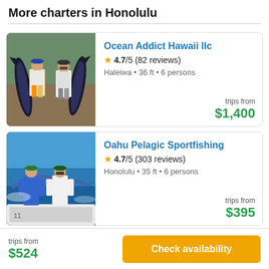More charters in Honolulu
[Figure (photo): Two men standing on a dock holding large tuna fish]
Ocean Addict Hawaii llc
4.7/5 (82 reviews)
Haleiwa • 36 ft • 6 persons
trips from $1,400
[Figure (photo): Two men on a boat holding a large billfish over the water]
Oahu Pelagic Sportfishing
4.7/5 (303 reviews)
Honolulu • 35 ft • 6 persons
trips from $395
trips from $524
Check availability